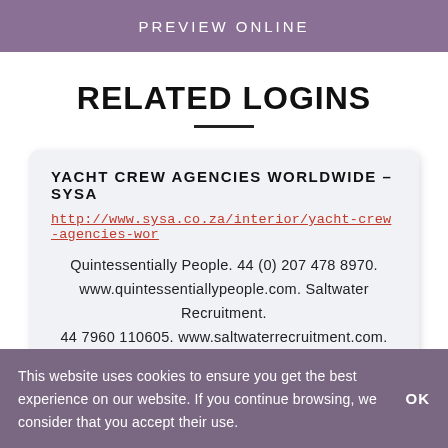PREVIEW ONLINE
RELATED LOGINS
YACHT CREW AGENCIES WORLDWIDE – SYSA
http://www.sysa.co.za/interior/yacht-crew-agencies-wor
Quintessentially People. 44 (0) 207 478 8970. www.quintessentiallypeople.com. Saltwater Recruitment. 44 7960 110605. www.saltwaterrecruitment.com.
This website uses cookies to ensure you get the best experience on our website. If you continue browsing, we consider that you accept their use.